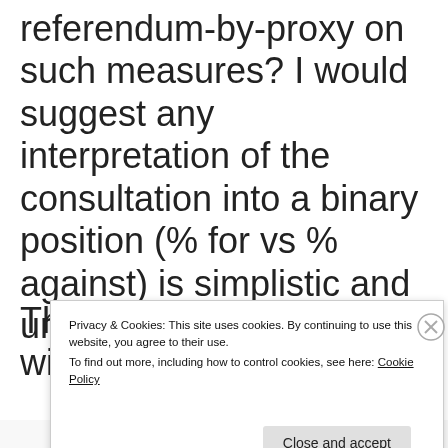referendum-by-proxy on such measures? I would suggest any interpretation of the consultation into a binary position (% for vs % against) is simplistic and unhelpful.
The apparent widespread
Privacy & Cookies: This site uses cookies. By continuing to use this website, you agree to their use.
To find out more, including how to control cookies, see here: Cookie Policy